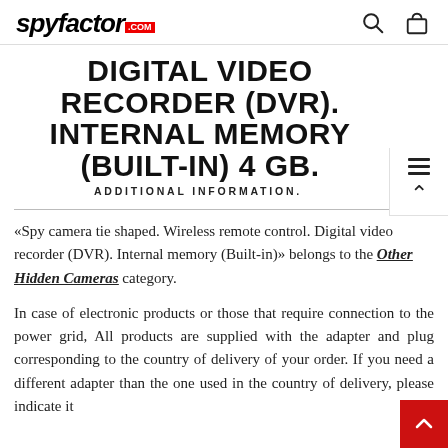spyfactor.com
DIGITAL VIDEO RECORDER (DVR). INTERNAL MEMORY (BUILT-IN) 4 GB.
ADDITIONAL INFORMATION.
«Spy camera tie shaped. Wireless remote control. Digital video recorder (DVR). Internal memory (Built-in)» belongs to the Other Hidden Cameras category.
In case of electronic products or those that require connection to the power grid, All products are supplied with the adapter and plug corresponding to the country of delivery of your order. If you need a different adapter than the one used in the country of delivery, please indicate it